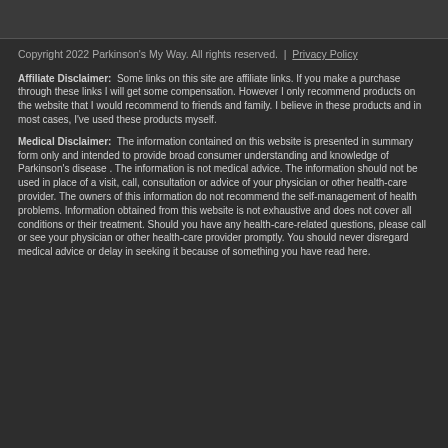Copyright 2022 Parkinson's My Way. All rights reserved. | Privacy Policy
Affiliate Disclaimer: Some links on this site are affiliate links. If you make a purchase through these links I will get some compensation. However I only recommend products on the website that I would recommend to friends and family. I believe in these products and in most cases, I've used these products myself.
Medical Disclaimer: The information contained on this website is presented in summary form only and intended to provide broad consumer understanding and knowledge of Parkinson's disease . The information is not medical advice. The information should not be used in place of a visit, call, consultation or advice of your physician or other health-care provider. The owners of this information do not recommend the self-management of health problems. Information obtained from this website is not exhaustive and does not cover all conditions or their treatment. Should you have any health-care-related questions, please call or see your physician or other health-care provider promptly. You should never disregard medical advice or delay in seeking it because of something you have read here.